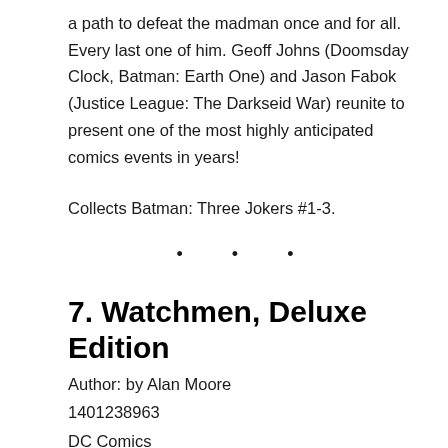a path to defeat the madman once and for all. Every last one of him. Geoff Johns (Doomsday Clock, Batman: Earth One) and Jason Fabok (Justice League: The Darkseid War) reunite to present one of the most highly anticipated comics events in years!
Collects Batman: Three Jokers #1-3.
• • •
7. Watchmen, Deluxe Edition
Author: by Alan Moore
1401238963
DC Comics
English